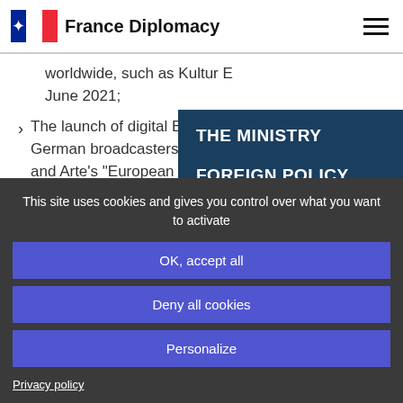France Diplomacy
worldwide, such as Kultur E June 2021;
The launch of digital Europe German broadcasters (ENT and Arte's “European Colle
THE MINISTRY
FOREIGN POLICY
This site uses cookies and gives you control over what you want to activate
OK, accept all
Deny all cookies
Personalize
Privacy policy